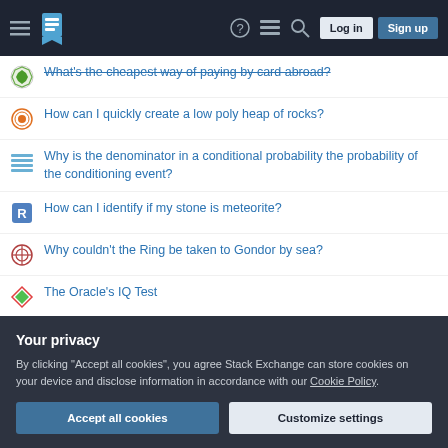Stack Exchange navigation header with Log in and Sign up buttons
What's the cheapest way of paying by card abroad?
How can I quickly create a low poly heap of rocks?
Why is the denominator in a conditional probability the probability of the conditioning event?
How can I identify if my stone is meteorite?
Why couldn't the Ring be taken to Gondor by sea?
The Oracle's IQ Test
Why did 'Let it out' change so much from Urban Shadows 1e to 2e?
How do daily push-ups (as in army bootcamp) lead to muscle growth
What is this "loose faceplate ring" and is it something that should be
Your privacy
By clicking "Accept all cookies", you agree Stack Exchange can store cookies on your device and disclose information in accordance with our Cookie Policy.
Accept all cookies | Customize settings